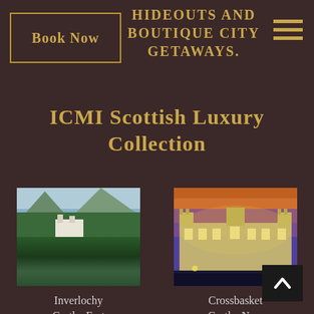HIDEOUTS AND BOUTIQUE CITY GETAWAYS.
Book Now
ICMI Scottish Luxury Collection
[Figure (photo): Inverlochy Castle set against green Scottish highlands with a reflective lake in the foreground]
Inverlochy Castle, Fort William
[Figure (photo): Crossbasket Castle illuminated at dusk against a dramatic orange and purple sunset sky]
Crossbasket Castle, Near Glasgow